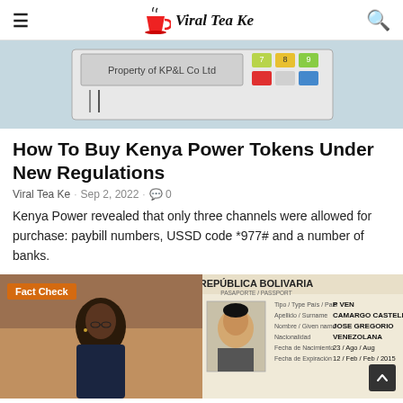Viral Tea Ke
[Figure (photo): Close-up photo of a Kenya Power prepaid electricity meter keypad with colorful buttons and text 'Property of KP&L Co Ltd']
How To Buy Kenya Power Tokens Under New Regulations
Viral Tea Ke · Sep 2, 2022 · 0
Kenya Power revealed that only three channels were allowed for purchase: paybill numbers, USSD code *977# and a number of banks.
[Figure (photo): Left: photo of a woman at a press conference with 'Fact Check' badge overlay. Right: photo of a Venezuelan passport (República Bolivariana) showing details for CAMARGO CASTELLANO JOSE GREGORIO, VENEZOLANA, Ago 23, Feb 12/2015.]